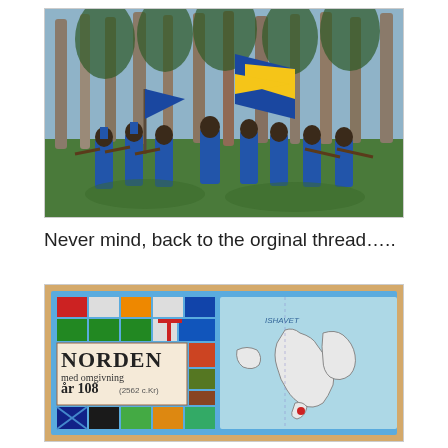[Figure (photo): Painted miniature soldiers in blue uniforms carrying blue and gold flags, marching through a pine forest. Napoleonic-era wargaming miniatures.]
Never mind, back to the orginal thread…..
[Figure (photo): A historical board game map titled 'NORDEN med omgivning år 108 (2562 c.Kr)' showing Scandinavia and surrounding regions with faction flags and symbols along the left side.]